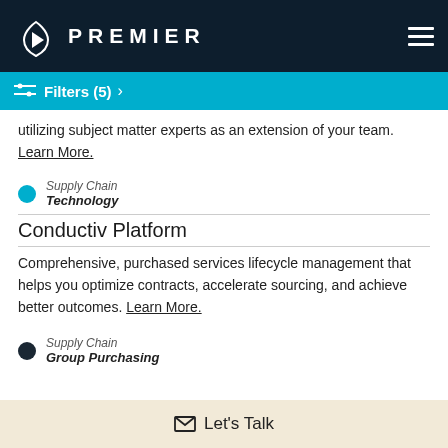PREMIER
Filters (5)
utilizing subject matter experts as an extension of your team. Learn More.
Supply Chain
Technology
Conductiv Platform
Comprehensive, purchased services lifecycle management that helps you optimize contracts, accelerate sourcing, and achieve better outcomes. Learn More.
Supply Chain
Group Purchasing
Let's Talk